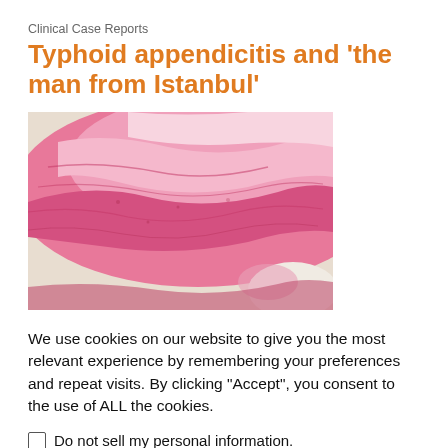Clinical Case Reports
Typhoid appendicitis and ‘the man from Istanbul’
[Figure (photo): Microscopy image of appendix tissue stained with hematoxylin and eosin, showing pink/magenta tissue cross-section typical of histopathology slide.]
We use cookies on our website to give you the most relevant experience by remembering your preferences and repeat visits. By clicking “Accept”, you consent to the use of ALL the cookies.
Do not sell my personal information.
Cookie Settings   Accept